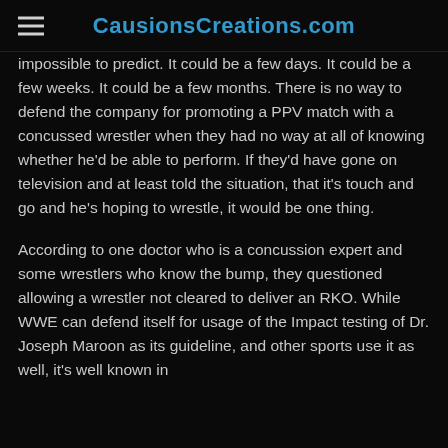CausionsCreations.com
impossible to predict. It could be a few days. It could be a few weeks. It could be a few months. There is no way to defend the company for promoting a PPV match with a concussed wrestler when they had no way at all of knowing whether he'd be able to perform. If they'd have gone on television and at least told the situation, that it's touch and go and he's hoping to wrestle, it would be one thing.
According to one doctor who is a concussion expert and some wrestlers who know the bump, they questioned allowing a wrestler not cleared to deliver an RKO. While WWE can defend itself for usage of the Impact testing of Dr. Joseph Maroon as its guideline, and other sports use it as well, it's well known in